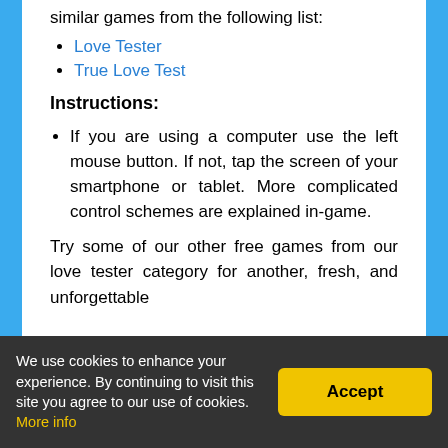similar games from the following list:
Love Tester
True Love Test
Instructions:
If you are using a computer use the left mouse button. If not, tap the screen of your smartphone or tablet. More complicated control schemes are explained in-game.
Try some of our other free games from our love tester category for another, fresh, and unforgettable
We use cookies to enhance your experience. By continuing to visit this site you agree to our use of cookies. More info